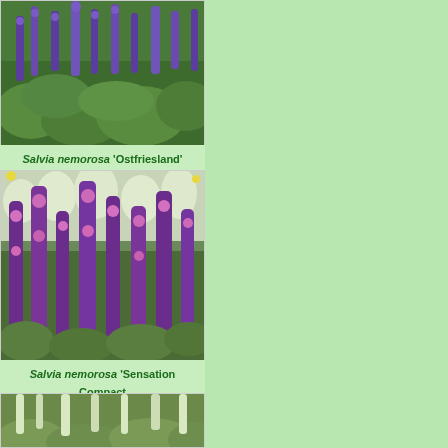[Figure (photo): Photo of Salvia nemorosa 'Ostfriesland' showing purple-blue flower spikes above green foliage]
Salvia nemorosa 'Ostfriesland'
[Figure (photo): Photo of Salvia nemorosa 'Sensation Compact Bright Rose' showing tall purple-pink flower spikes with white flowers in background]
Salvia nemorosa 'Sensation Compact Bright Rose'
[Figure (photo): Partial photo of another Salvia variety showing white/cream flower spikes over green foliage]